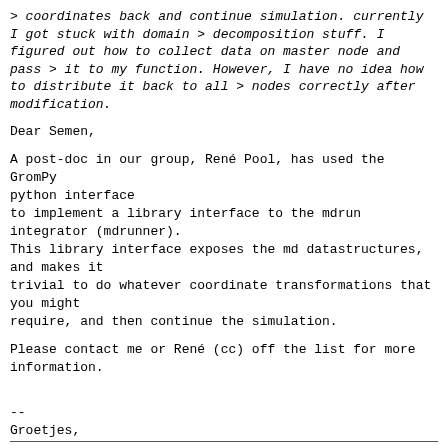> coordinates back and continue simulation. currently I got stuck with domain
> decomposition stuff. I figured out how to collect data on master node and pass
> it to my function. However,  I have no  idea how to distribute it back to all
> nodes correctly after  modification.
Dear Semen,
A post-doc in our group, René Pool, has used the GromPy python interface
to implement a library interface to the mdrun integrator (mdrunner).
This library interface exposes the md datastructures, and makes it
trivial to do whatever coordinate transformations that you might
require, and then continue the simulation.
Please contact me or René (cc) off the list for more information.
--
Groetjes,

Anton